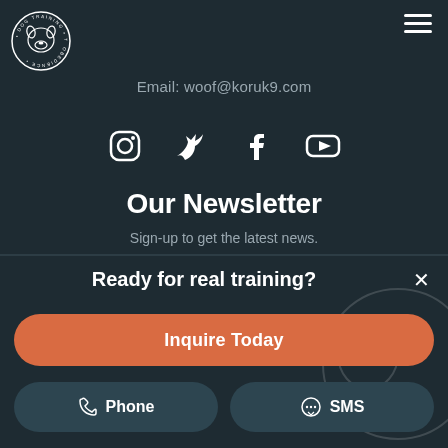[Figure (logo): Koruk9 dog training logo — circular badge with dog silhouette in white on dark background]
[Figure (other): Hamburger menu icon (three horizontal lines) in top-right corner]
Email: woof@koruk9.com
[Figure (other): Social media icons row: Instagram, Twitter, Facebook, YouTube — white icons on dark background]
Our Newsletter
Sign-up to get the latest news.
Ready for real training?
Inquire Today
Phone
SMS